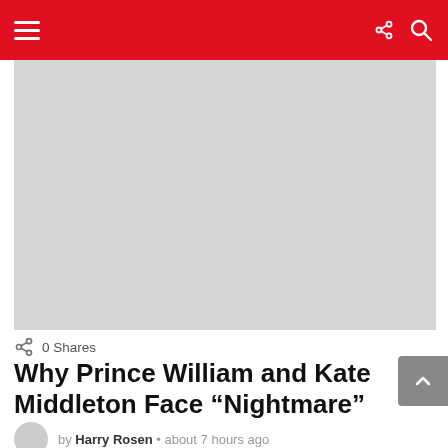Navigation bar with hamburger menu, share icon, and search icon
[Figure (photo): Large gray placeholder image for article hero photo]
0 Shares
Why Prince William and Kate Middleton Face “Nightmare”
by Harry Rosen • about 7 hours ago